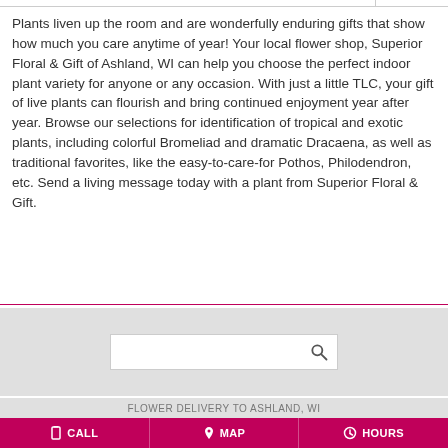Plants liven up the room and are wonderfully enduring gifts that show how much you care anytime of year! Your local flower shop, Superior Floral & Gift of Ashland, WI can help you choose the perfect indoor plant variety for anyone or any occasion. With just a little TLC, your gift of live plants can flourish and bring continued enjoyment year after year. Browse our selections for identification of tropical and exotic plants, including colorful Bromeliad and dramatic Dracaena, as well as traditional favorites, like the easy-to-care-for Pothos, Philodendron, etc. Send a living message today with a plant from Superior Floral & Gift.
[Figure (other): Search input box with magnifying glass icon on a gray background]
FLOWER DELIVERY TO ASHLAND, WI
CALL   MAP   HOURS